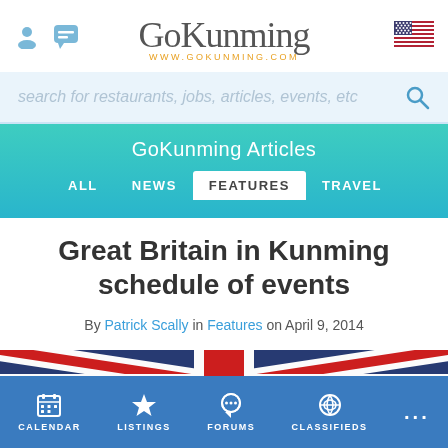GoKunming — www.gokunming.com
search for restaurants, jobs, articles, events, etc
GoKunming Articles — ALL | NEWS | FEATURES | TRAVEL
Great Britain in Kunming schedule of events
By Patrick Scally in Features on April 9, 2014
[Figure (photo): Union Jack / British flag waving, close-up view showing red, white, and blue colors]
CALENDAR | LISTINGS | FORUMS | CLASSIFIEDS | ...